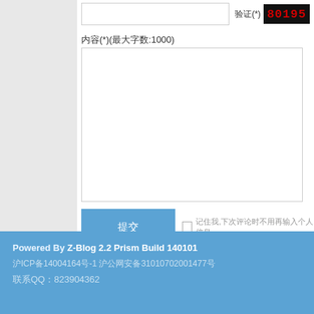验证(*)(最大字数:1000)
[Figure (screenshot): CAPTCHA image showing '80195' in bold distorted text on dark background]
内容(*)(最大字数:1000)
提交
记住我,下次评论时不用再输入个人信息
◎欢迎参与讨论,请在这里发表您的看法和观点。
Powered By Z-Blog 2.2 Prism Build 140101 沪ICP备14004164号-1 沪公网安备31010702001477号 联系QQ：823904362